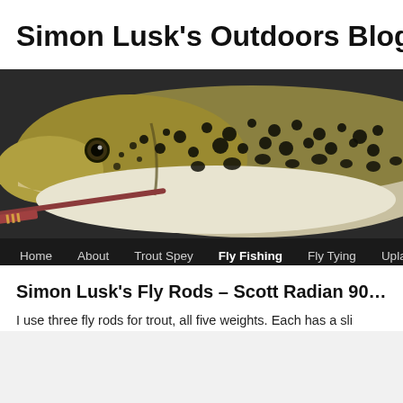Simon Lusk's Outdoors Blog
[Figure (photo): Close-up photograph of a brown trout head with distinctive dark spots on a light background, with a fly rod visible at the bottom left. Navigation bar overlaid at the bottom with links: Home, About, Trout Spey, Fly Fishing, Fly Tying, Upland]
Simon Lusk's Fly Rods – Scott Radian 905/4
I use three fly rods for trout, all five weights. Each has a sli